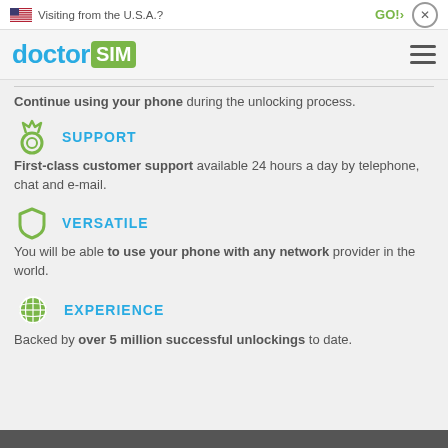Visiting from the U.S.A.? GO!> x
[Figure (logo): doctorSIM logo with hamburger menu]
Continue using your phone during the unlocking process.
SUPPORT
First-class customer support available 24 hours a day by telephone, chat and e-mail.
VERSATILE
You will be able to use your phone with any network provider in the world.
EXPERIENCE
Backed by over 5 million successful unlockings to date.